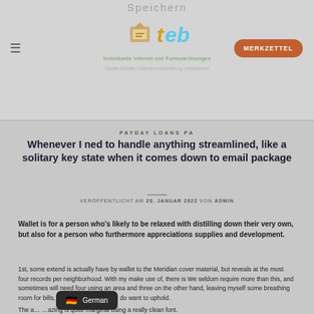Speichern — teb — Individuelle Internet und Formularlösungen — Cookie-Details | Datenschutzerklärung | Impressum — MERKZETTEL
PAYDAY LOANS PA
Whenever I ned to handle anything streamlined, like a solitary key state when it comes down to email package
VERÖFFENTLICHT AM 20. JANUAR 2022 VON ADMIN
Wallet is for a person who's likely to be relaxed with distilling down their very own, but also for a person who furthermore appreciations supplies and development.
1st, some extend is actually have by wallet to the Meridian cover material, but reveals at the most four records per neighborhood. With my make use of, there is We seldom require more than this, and sometimes will need four using an area and three on the other hand, leaving myself some breathing room for bills, or infraction slips that i do want to uphold.
The a... ...azing is quite marginal using a really clean font.